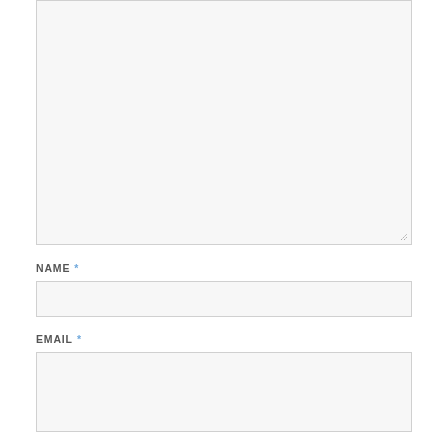[Figure (screenshot): Large textarea input field with light gray background and resize handle in bottom-right corner]
NAME *
[Figure (screenshot): Single-line text input field for NAME with light gray background]
EMAIL *
[Figure (screenshot): Single-line text input field for EMAIL with light gray background]